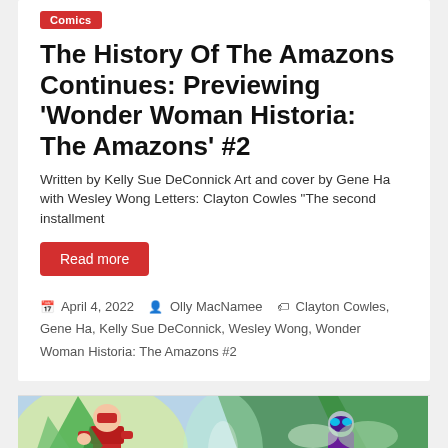Comics
The History Of The Amazons Continues: Previewing 'Wonder Woman Historia: The Amazons' #2
Written by Kelly Sue DeConnick Art and cover by Gene Ha with Wesley Wong Letters: Clayton Cowles "The second installment
Read more
April 4, 2022  Olly MacNamee  Clayton Cowles, Gene Ha, Kelly Sue DeConnick, Wesley Wong, Wonder Woman Historia: The Amazons #2
[Figure (illustration): Comic book illustration showing costumed superhero characters in green and yellow costumes against a colorful background]